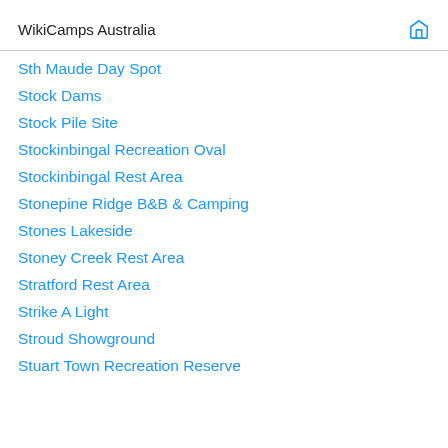WikiCamps Australia
Sth Maude Day Spot
Stock Dams
Stock Pile Site
Stockinbingal Recreation Oval
Stockinbingal Rest Area
Stonepine Ridge B&B & Camping
Stones Lakeside
Stoney Creek Rest Area
Stratford Rest Area
Strike A Light
Stroud Showground
Stuart Town Recreation Reserve